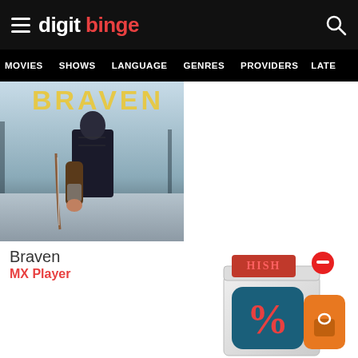digit binge
MOVIES  SHOWS  LANGUAGE  GENRES  PROVIDERS  LATE
[Figure (photo): Movie poster for Braven showing a person from behind holding a bow in a snowy environment with the title BRAVEN at the top]
Braven
MX Player
[Figure (other): Advertisement box showing discount/deal product with percentage sign and red circle on top right]
Advertisements
[Figure (other): Advertisement banner: Did you get clean margins? Real-time Margin Visualization Technology. See the Benefits. Perimeter Medical.]